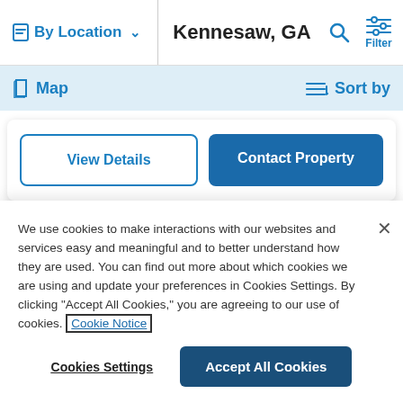By Location   Kennesaw, GA   Filter
Map   Sort by
View Details   Contact Property
[Figure (photo): Partial view of a property listing image with light blue sky and trees visible]
We use cookies to make interactions with our websites and services easy and meaningful and to better understand how they are used. You can find out more about which cookies we are using and update your preferences in Cookies Settings. By clicking "Accept All Cookies," you are agreeing to our use of cookies. Cookie Notice
Cookies Settings   Accept All Cookies